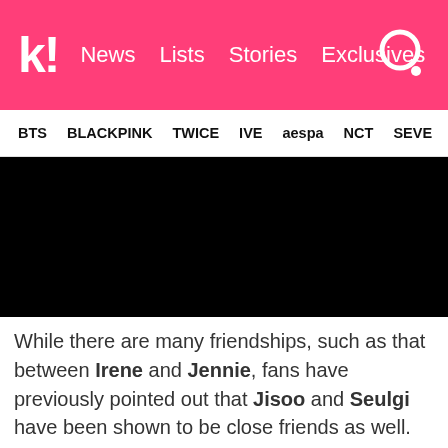k! News Lists Stories Exclusives
BTS BLACKPINK TWICE IVE aespa NCT SEVE
[Figure (photo): Black rectangular image area (photo placeholder)]
While there are many friendships, such as that between Irene and Jennie, fans have previously pointed out that Jisoo and Seulgi have been shown to be close friends as well.
look at how close jisoo and seulgi are l
#blackpink #jisoo #jennie #rosé #lisa #🌹🌹🌹 #🌹🌹 #redvelvet #seulgi #irene